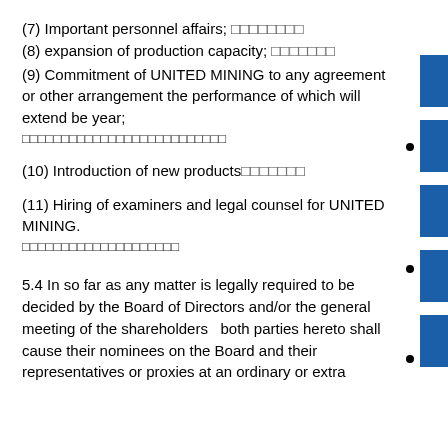(7) Important personnel affairs; ████████
(8) expansion of production capacity; ████████
(9) Commitment of UNITED MINING to any agreement or other arrangement the performance of which will extend be year;
████████████████████████████
(10) Introduction of new products████████
(11) Hiring of examiners and legal counsel for UNITED MINING.
████████████████████████
5.4 In so far as any matter is legally required to be decided by the Board of Directors and/or the general meeting of the shareholders   both parties hereto shall cause their nominees on the Board and their representatives or proxies at an ordinary or extra